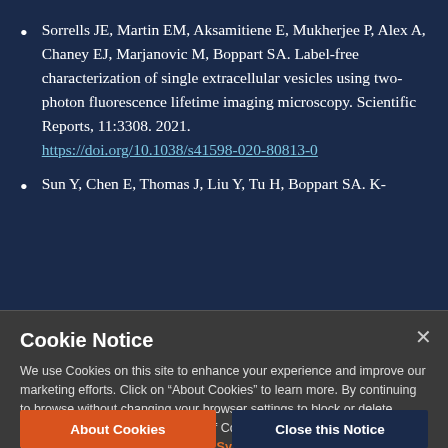Sorrells JE, Martin EM, Aksamitiene E, Mukherjee P, Alex A, Chaney EJ, Marjanovic M, Boppart SA. Label-free characterization of single extracellular vesicles using two-photon fluorescence lifetime imaging microscopy. Scientific Reports, 11:3308. 2021. https://doi.org/10.1038/s41598-020-80813-0
Sun Y, Chen E, Thomas J, Liu Y, Tu H, Boppart SA. K-
Cookie Notice
We use Cookies on this site to enhance your experience and improve our marketing efforts. Click on “About Cookies” to learn more. By continuing to browse without changing your browser settings to block or delete Cookies, you agree to the storing of Cookies and related technologies on your device. University of Illinois System Cookie Policy
About Cookies
Close this Notice